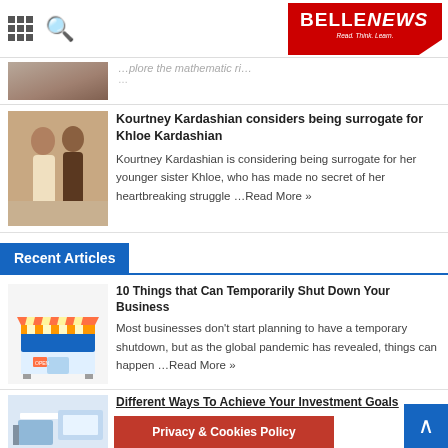BELLENEWS - Read. Think. Learn.
[Figure (photo): Two women walking outdoors, partial view at top]
Kourtney Kardashian considers being surrogate for Khloe Kardashian
Kourtney Kardashian is considering being surrogate for her younger sister Khloe, who has made no secret of her heartbreaking struggle ...Read More »
Recent Articles
10 Things that Can Temporarily Shut Down Your Business
Most businesses don't start planning to have a temporary shutdown, but as the global pandemic has revealed, things can happen ...Read More »
Different Ways To Achieve Your Investment Goals
No matter what ... there are many
Privacy & Cookies Policy